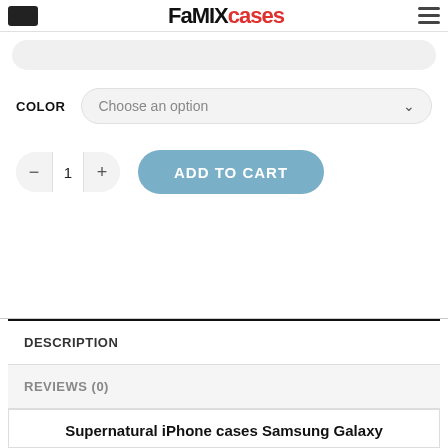FaMIXcases
Choose an option
- 1 + ADD TO CART
DESCRIPTION
REVIEWS (0)
Supernatural iPhone cases Samsung Galaxy